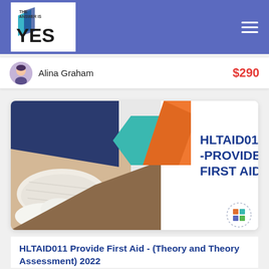The Answer Is YES – navigation header with logo and hamburger menu
Alina Graham   $290
[Figure (illustration): Course banner image for HLTAID011 – PROVIDE FIRST AID. Left half shows a gloved hand applying a bandage to a knee/leg. Right half has a dark blue text on white background reading 'HLTAID011 -PROVIDE FIRST AID' with teal and orange geometric chevron/hexagon shapes in the center. Bottom right has a small ADT logo.]
HLTAID011 Provide First Aid - (Theory and Theory Assessment) 2022